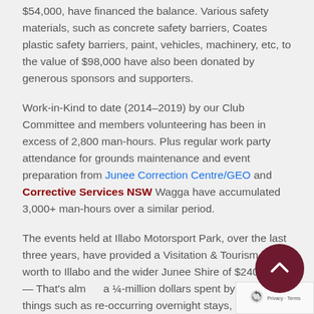$54,000, have financed the balance. Various safety materials, such as concrete safety barriers, Coates plastic safety barriers, paint, vehicles, machinery, etc, to the value of $98,000 have also been donated by generous sponsors and supporters.
Work-in-Kind to date (2014–2019) by our Club Committee and members volunteering has been in excess of 2,800 man-hours. Plus regular work party attendance for grounds maintenance and event preparation from Junee Correction Centre/GEO and Corrective Services NSW Wagga have accumulated 3,000+ man-hours over a similar period.
The events held at Illabo Motorsport Park, over the last three years, have provided a Visitation & Tourism Dollar worth to Illabo and the wider Junee Shire of $240,000 — That's almost a ¼-million dollars spent by visitors on things such as re-occurring overnight stays, meals and supplies purchased at local businesses, and visitation to other tourism attractions in